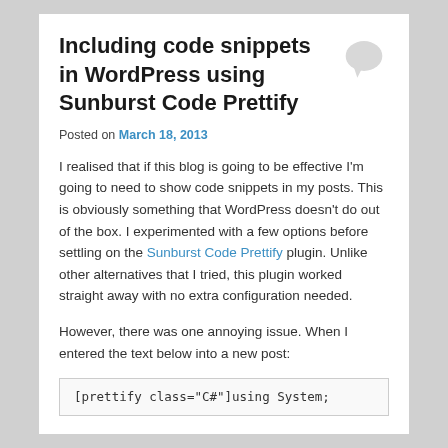Including code snippets in WordPress using Sunburst Code Prettify
Posted on March 18, 2013
I realised that if this blog is going to be effective I'm going to need to show code snippets in my posts. This is obviously something that WordPress doesn't do out of the box. I experimented with a few options before settling on the Sunburst Code Prettify plugin. Unlike other alternatives that I tried, this plugin worked straight away with no extra configuration needed.
However, there was one annoying issue. When I entered the text below into a new post:
[prettify class="C#"]using System;